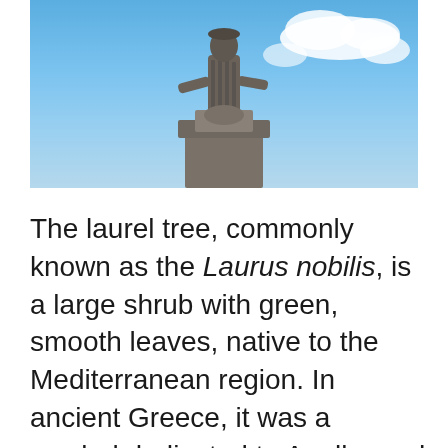[Figure (photo): A bronze or stone statue of a figure atop a large pedestal against a blue sky with white clouds. The statue appears to depict a robed classical figure, photographed from below looking upward.]
The laurel tree, commonly known as the Laurus nobilis, is a large shrub with green, smooth leaves, native to the Mediterranean region. In ancient Greece, it was a symbol dedicated to Apollo, and later adopted by Romans as a symbol of triumph. The laurel wreath has been used in a variety of ways and features in many ancient